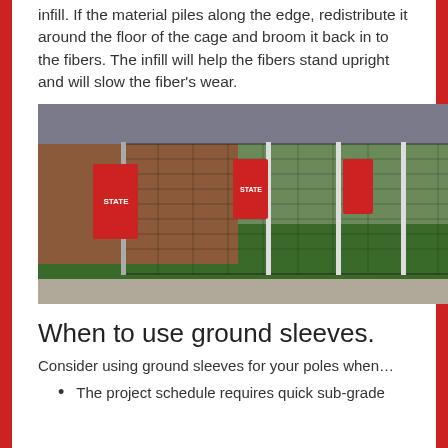infill. If the material piles along the edge, redistribute it around the floor of the cage and broom it back in to the fibers. The infill will help the fibers stand upright and will slow the fiber's wear.
[Figure (photo): Outdoor batting cage or sports netting installation on artificial turf with Iowa State branding banners visible in the background, multiple poles supporting black netting.]
When to use ground sleeves.
Consider using ground sleeves for your poles when…
The project schedule requires quick sub-grade